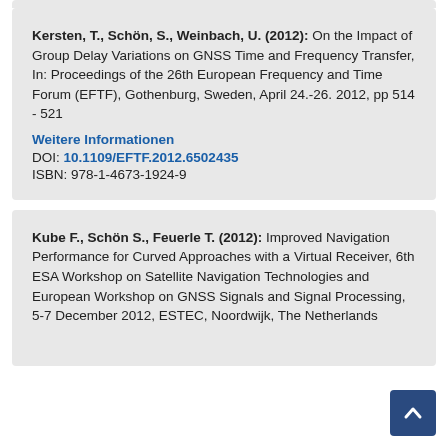Kersten, T., Schön, S., Weinbach, U. (2012): On the Impact of Group Delay Variations on GNSS Time and Frequency Transfer, In: Proceedings of the 26th European Frequency and Time Forum (EFTF), Gothenburg, Sweden, April 24.-26. 2012, pp 514 - 521
Weitere Informationen
DOI: 10.1109/EFTF.2012.6502435
ISBN: 978-1-4673-1924-9
Kube F., Schön S., Feuerle T. (2012): Improved Navigation Performance for Curved Approaches with a Virtual Receiver, 6th ESA Workshop on Satellite Navigation Technologies and European Workshop on GNSS Signals and Signal Processing, 5-7 December 2012, ESTEC, Noordwijk, The Netherlands